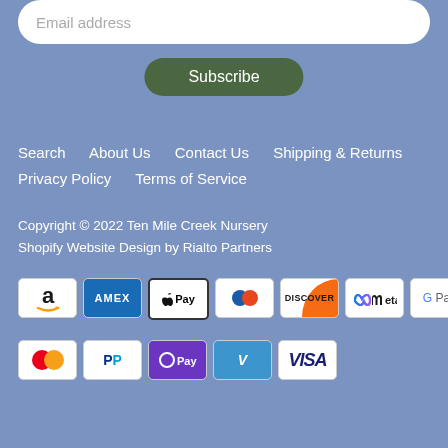Email address
Subscribe
Search   About Us   Contact Us   Shipping & Returns   Privacy Policy   Terms of Service
Copyright © 2022 Ten Mile Creek Nursery
Shopify Website Design by Rialto Partners
[Figure (other): Payment method icons row 1: Amazon, Amex, Apple Pay, Diners Club, Discover, Meta, Google Pay]
[Figure (other): Payment method icons row 2: Mastercard, PayPal, OPay, Venmo, Visa]